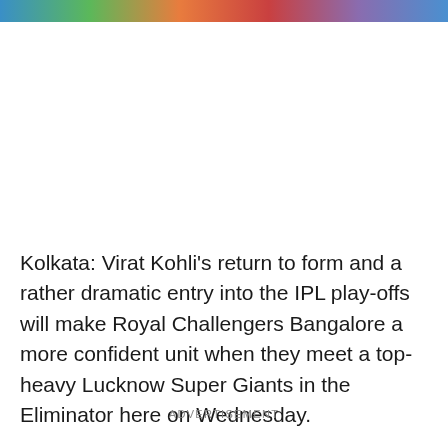[Figure (photo): Colorful image strip at the top of the page, partially visible]
Kolkata: Virat Kohli's return to form and a rather dramatic entry into the IPL play-offs will make Royal Challengers Bangalore a more confident unit when they meet a top-heavy Lucknow Super Giants in the Eliminator here on Wednesday.
ADVERTISEMENT